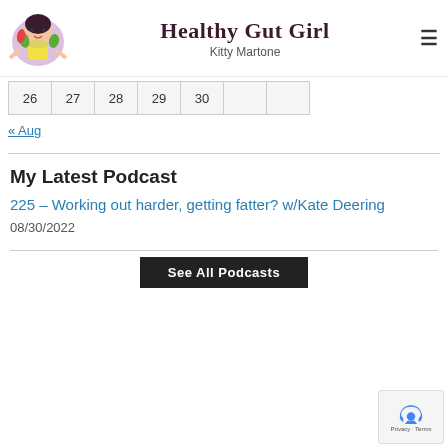Healthy Gut Girl / Kitty Martone
| 26 | 27 | 28 | 29 | 30 |
« Aug
My Latest Podcast
225 – Working out harder, getting fatter? w/Kate Deering
08/30/2022
See All Podcasts